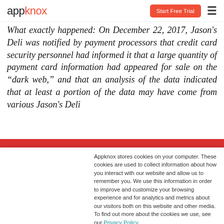appknox | Start Free Trial
What exactly happened: On December 22, 2017, Jason's Deli was notified by payment processors that credit card security personnel had informed it that a large quantity of payment card information had appeared for sale on the “dark web,” and that an analysis of the data indicated that at least a portion of the data may have come from various Jason's Deli
Appknox stores cookies on your computer. These cookies are used to collect information about how you interact with our website and allow us to remember you. We use this information in order to improve and customize your browsing experience and for analytics and metrics about our visitors both on this website and other media. To find out more about the cookies we use, see our Privacy Policy.
Accept